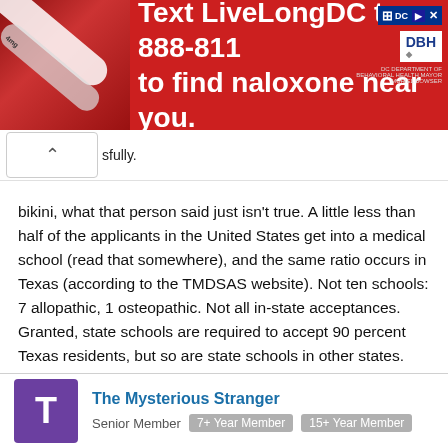[Figure (infographic): Red advertisement banner: 'Text LiveLongDC to 888-811 to find naloxone near you.' with DC and DBH logos and a close button. Left side shows pills/medical imagery.]
sfully.
bikini, what that person said just isn't true. A little less than half of the applicants in the United States get into a medical school (read that somewhere), and the same ratio occurs in Texas (according to the TMDSAS website). Not ten schools: 7 allopathic, 1 osteopathic. Not all in-state acceptances. Granted, state schools are required to accept 90 percent Texas residents, but so are state schools in other states. Baylor does not abide by this 90 percent rule, either. And given the large population of Texas (and the large population of applicants), we're under a similar amount of pressure as any other state applicants, I think. Nonetheless, I still feel fortunate to be involved with the Texas med school programs. Great application service and friendly people.
The Mysterious Stranger
Senior Member  7+ Year Member  15+ Year Member